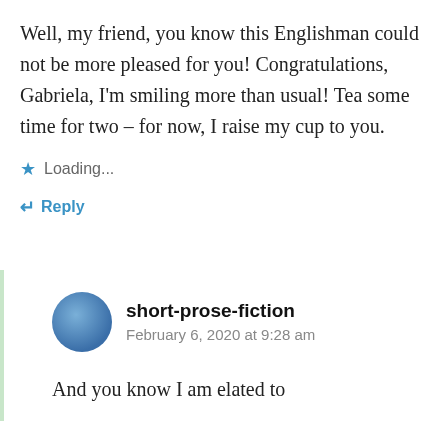Well, my friend, you know this Englishman could not be more pleased for you! Congratulations, Gabriela, I'm smiling more than usual! Tea some time for two – for now, I raise my cup to you.
Loading...
Reply
short-prose-fiction
February 6, 2020 at 9:28 am
And you know I am elated to